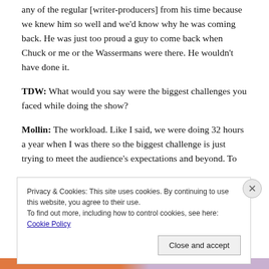any of the regular [writer-producers] from his time because we knew him so well and we'd know why he was coming back. He was just too proud a guy to come back when Chuck or me or the Wassermans were there. He wouldn't have done it.
TDW: What would you say were the biggest challenges you faced while doing the show?
Mollin: The workload. Like I said, we were doing 32 hours a year when I was there so the biggest challenge is just trying to meet the audience's expectations and beyond. To
Privacy & Cookies: This site uses cookies. By continuing to use this website, you agree to their use.
To find out more, including how to control cookies, see here: Cookie Policy
Close and accept